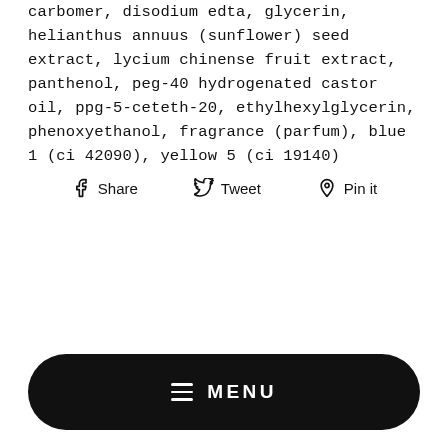carbomer, disodium edta, glycerin, helianthus annuus (sunflower) seed extract, lycium chinense fruit extract, panthenol, peg-40 hydrogenated castor oil, ppg-5-ceteth-20, ethylhexylglycerin, phenoxyethanol, fragrance (parfum), blue 1 (ci 42090), yellow 5 (ci 19140)
Share  Tweet  Pin it
MENU